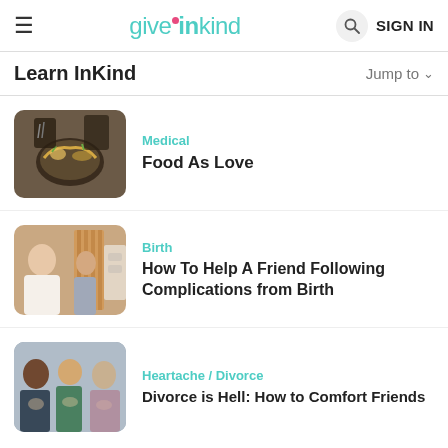giveinkind | SIGN IN
Learn InKind
Jump to
[Figure (photo): Bowl of noodles/food, Asian cuisine with chopsticks]
Medical
Food As Love
[Figure (photo): Two women near a window, one appears to be visiting the other]
Birth
How To Help A Friend Following Complications from Birth
[Figure (photo): Group of people sitting together in conversation, support group]
Heartache / Divorce
Divorce is Hell: How to Comfort Friends